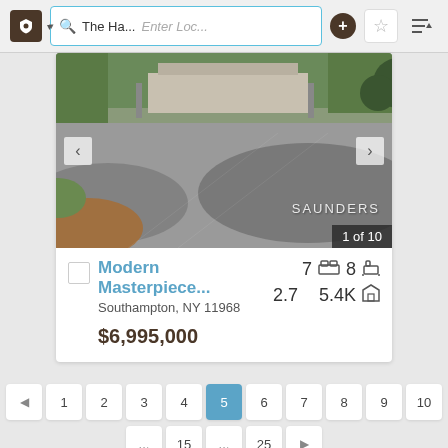The Ha... | Enter Loc...
[Figure (photo): Exterior photo of a luxury property showing a wide gravel/paved driveway with landscaping, greenery and trees in background. Watermark: SAUNDERS. Counter: 1 of 10.]
Modern Masterpiece...
Southampton, NY 11968
7 beds  8 baths  2.7 acres  5.4K sqft
$6,995,000
◄ 1 2 3 4 5 6 7 8 9 10  ... 15 ... 25 ►